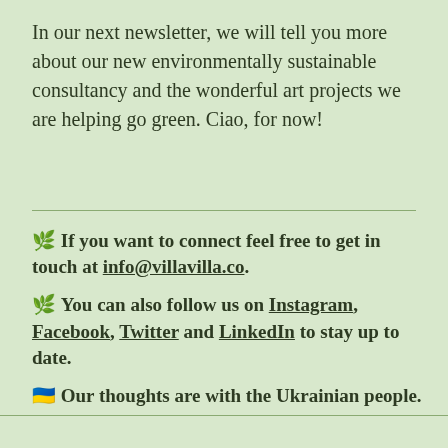In our next newsletter, we will tell you more about our new environmentally sustainable consultancy and the wonderful art projects we are helping go green. Ciao, for now!
🌿 If you want to connect feel free to get in touch at info@villavilla.co.
🌿 You can also follow us on Instagram, Facebook, Twitter and LinkedIn to stay up to date.
🇺🇦 Our thoughts are with the Ukrainian people.